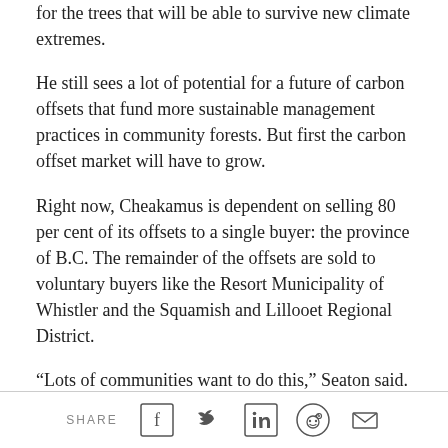for the trees that will be able to survive new climate extremes.
He still sees a lot of potential for a future of carbon offsets that fund more sustainable management practices in community forests. But first the carbon offset market will have to grow.
Right now, Cheakamus is dependent on selling 80 per cent of its offsets to a single buyer: the province of B.C. The remainder of the offsets are sold to voluntary buyers like the Resort Municipality of Whistler and the Squamish and Lillooet Regional District.
“Lots of communities want to do this,” Seaton said.
SHARE [social icons: Facebook, Twitter, LinkedIn, Reddit, Email]